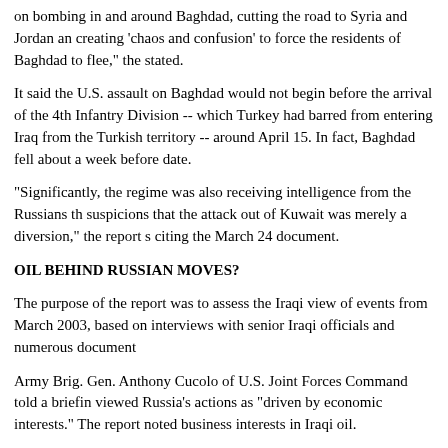on bombing in and around Baghdad, cutting the road to Syria and Jordan and creating 'chaos and confusion' to force the residents of Baghdad to flee," the stated.
It said the U.S. assault on Baghdad would not begin before the arrival of the 4th Infantry Division -- which Turkey had barred from entering Iraq from the Turkish territory -- around April 15. In fact, Baghdad fell about a week before date.
"Significantly, the regime was also receiving intelligence from the Russians th suspicions that the attack out of Kuwait was merely a diversion," the report s citing the March 24 document.
OIL BEHIND RUSSIAN MOVES?
The purpose of the report was to assess the Iraqi view of events from March 2003, based on interviews with senior Iraqi officials and numerous document
Army Brig. Gen. Anthony Cucolo of U.S. Joint Forces Command told a briefin viewed Russia's actions as "driven by economic interests." The report noted business interests in Iraqi oil.
Cucolo said the intelligence from Russia "was only a small part of Saddam's on the decisions he should make and the actions he should take."
"It was (Saddam) counting on other members of the international community him in any way that he saw fit to get what he wanted," Cucolo said.
The report said the March 24 document stated, "The information that the Ru have collected from their sources inside the American Central Command in D that the United States has conducted its invasion of Iraq and has achieved its